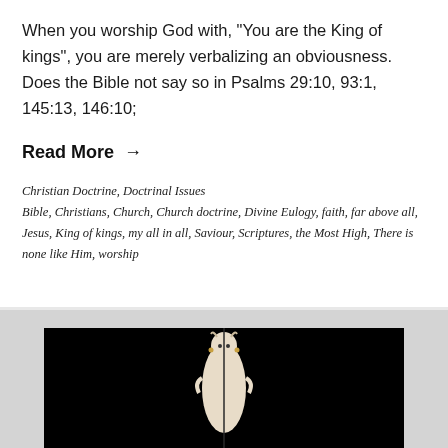When you worship God with, "You are the King of kings", you are merely verbalizing an obviousness. Does the Bible not say so in Psalms 29:10, 93:1, 145:13, 146:10;
Read More →
Christian Doctrine, Doctrinal Issues
Bible, Christians, Church, Church doctrine, Divine Eulogy, faith, far above all, Jesus, King of kings, my all in all, Saviour, Scriptures, the Most High, There is none like Him, worship
[Figure (photo): A small ivory or bone statue of a female figure with horns on a black background, partially visible at the bottom of the page]